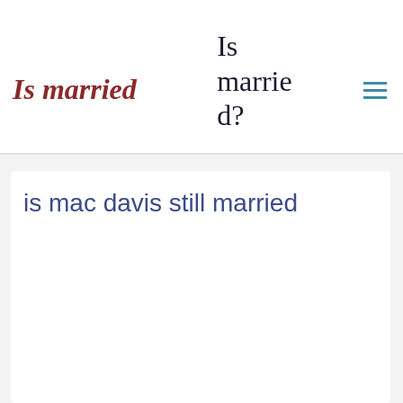Is married
Is married?
is mac davis still married